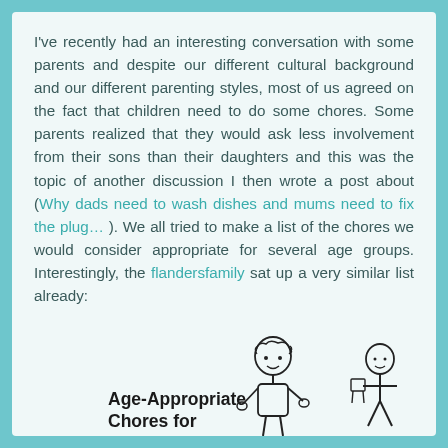I've recently had an interesting conversation with some parents and despite our different cultural background and our different parenting styles, most of us agreed on the fact that children need to do some chores. Some parents realized that they would ask less involvement from their sons than their daughters and this was the topic of another discussion I then wrote a post about (Why dads need to wash dishes and mums need to fix the plug… ). We all tried to make a list of the chores we would consider appropriate for several age groups. Interestingly, the flandersfamily sat up a very similar list already:
[Figure (illustration): Illustration of children doing chores, with text 'Age-Appropriate Chores for' and child figures]